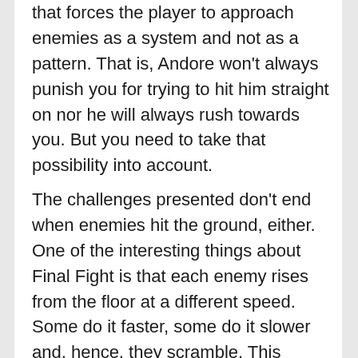that forces the player to approach enemies as a system and not as a pattern. That is, Andore won't always punish you for trying to hit him straight on nor he will always rush towards you. But you need to take that possibility into account.
The challenges presented don't end when enemies hit the ground, either. One of the interesting things about Final Fight is that each enemy rises from the floor at a different speed. Some do it faster, some do it slower and, hence, they scramble. This forces the player to constantly adapt and keep them in check, even after winning the first round.